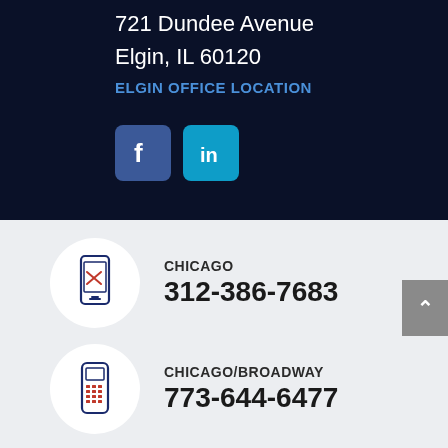721 Dundee Avenue
Elgin, IL 60120
ELGIN OFFICE LOCATION
[Figure (logo): Facebook and LinkedIn social media icon buttons]
CHICAGO 312-386-7683
CHICAGO/BROADWAY 773-644-6477